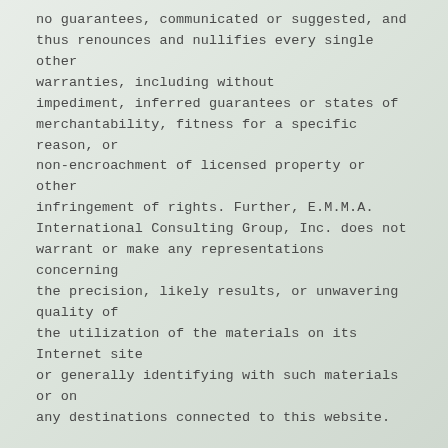no guarantees, communicated or suggested, and thus renounces and nullifies every single other warranties, including without impediment, inferred guarantees or states of merchantability, fitness for a specific reason, or non-encroachment of licensed property or other infringement of rights. Further, E.M.M.A. International Consulting Group, Inc. does not warrant or make any representations concerning the precision, likely results, or unwavering quality of the utilization of the materials on its Internet site or generally identifying with such materials or on any destinations connected to this website.
4. Constraints
In no occasion should E.M.M.A. International Consulting Group, Inc. or its suppliers subject for any harms (counting, without constraint, harms for